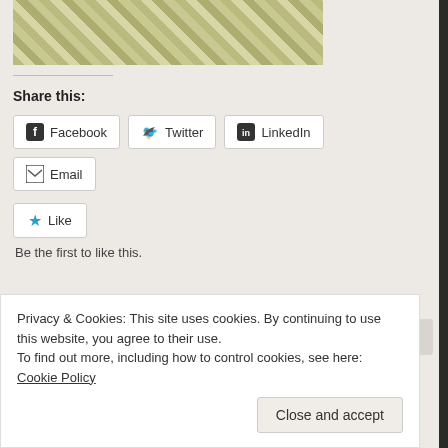[Figure (photo): Woven or lattice-patterned surface with diagonal cross-hatch design in muted green and tan tones]
Share this:
Facebook  Twitter  LinkedIn  Email
Like  Be the first to like this.
Posted in Random
Leave a comment
Privacy & Cookies: This site uses cookies. By continuing to use this website, you agree to their use.
To find out more, including how to control cookies, see here: Cookie Policy
Close and accept